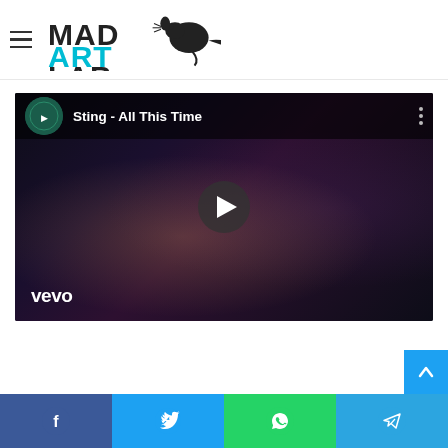Mad Art Lab — navigation header with logo
[Figure (screenshot): YouTube embedded video player showing 'Sting - All This Time' on Vevo, with dark background scene of people, play button in center, Vevo logo bottom-left, YouTube channel avatar top-left]
Social share buttons: Facebook, Twitter, WhatsApp, Telegram